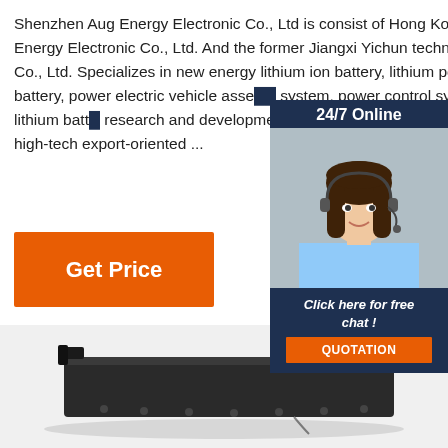Shenzhen Aug Energy Electronic Co., Ltd is consist of Hong Kong Aug Energy Electronic Co., Ltd. And the former Jiangxi Yichun technology Co., Ltd. Specializes in new energy lithium ion battery, lithium polymer battery, power electric vehicle asse... system, power control system of lithium batt... research and development, production and one of the high-tech export-oriented ...
[Figure (photo): Customer service representative woman with headset, smiling, shown in sidebar widget with dark navy background and '24/7 Online' label, 'Click here for free chat!' text, and orange QUOTATION button]
[Figure (photo): Black rectangular lithium battery pack with metal brackets/handles on a white background]